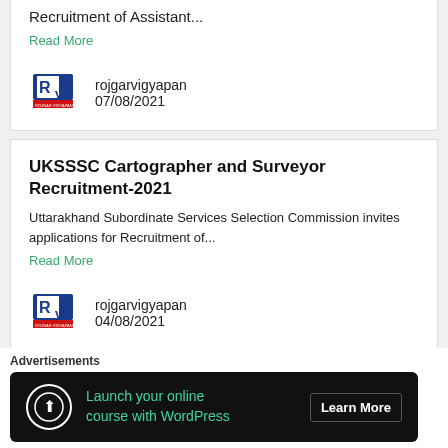Recruitment of Assistant...
Read More
rojgarvigyapan
07/08/2021
UKSSSC Cartographer and Surveyor Recruitment-2021
Uttarakhand Subordinate Services Selection Commission invites applications for Recruitment of...
Read More
rojgarvigyapan
04/08/2021
Advertisements
Launch your online course with WordPress  Learn More